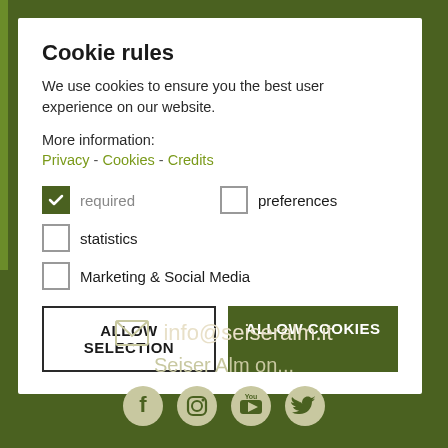Cookie rules
We use cookies to ensure you the best user experience on our website.
More information:
Privacy - Cookies - Credits
required (checked)
preferences
statistics
Marketing & Social Media
ALLOW SELECTION
ALLOW COOKIES
info@seiseralm.it
Seiser Alm on...